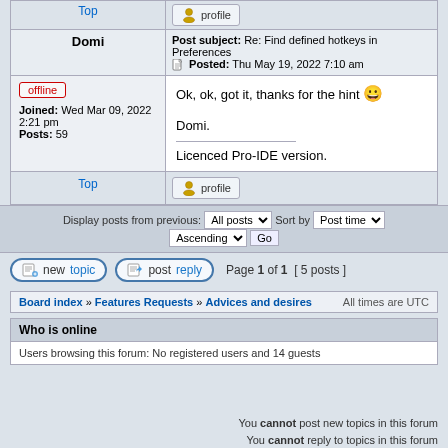| User | Post Info |
| --- | --- |
| Top | profile |
| Domi | Post subject: Re: Find defined hotkeys in Preferences
Posted: Thu May 19, 2022 7:10 am |
| offline
Joined: Wed Mar 09, 2022 2:21 pm
Posts: 59 | Ok, ok, got it, thanks for the hint 😄

Domi.

___________________
Licenced Pro-IDE version. |
| Top | profile |
Display posts from previous: All posts  Sort by Post time  Ascending  Go
new topic  post reply  Page 1 of 1  [ 5 posts ]
Board index » Features Requests » Advices and desires  All times are UTC
Who is online
Users browsing this forum: No registered users and 14 guests
You cannot post new topics in this forum
You cannot reply to topics in this forum